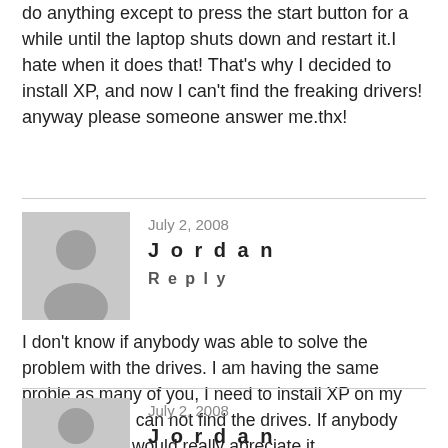do anything except to press the start button for a while until the laptop shuts down and restart it.I hate when it does that! That's why I decided to install XP, and now I can't find the freaking drivers! anyway please someone answer me.thx!
July 2, 2008
Jordan
Reply
I don't know if anybody was able to solve the problem with the drives. I am having the same proble as many of you, I need to install XP on my M-Series but I can not find the drives. If anybody can help me I would really apreciate it.
jordanpar@hotmail.com
July 2, 2008
Jordan